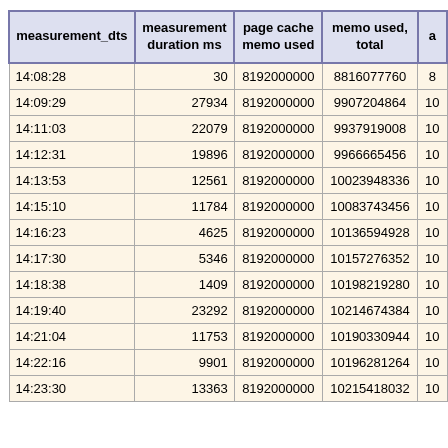| measurement_dts | measurement duration ms | page cache memo used | memo used, total | a |
| --- | --- | --- | --- | --- |
| 14:08:28 | 30 | 8192000000 | 8816077760 | 8 |
| 14:09:29 | 27934 | 8192000000 | 9907204864 | 10 |
| 14:11:03 | 22079 | 8192000000 | 9937919008 | 10 |
| 14:12:31 | 19896 | 8192000000 | 9966665456 | 10 |
| 14:13:53 | 12561 | 8192000000 | 10023948336 | 10 |
| 14:15:10 | 11784 | 8192000000 | 10083743456 | 10 |
| 14:16:23 | 4625 | 8192000000 | 10136594928 | 10 |
| 14:17:30 | 5346 | 8192000000 | 10157276352 | 10 |
| 14:18:38 | 1409 | 8192000000 | 10198219280 | 10 |
| 14:19:40 | 23292 | 8192000000 | 10214674384 | 10 |
| 14:21:04 | 11753 | 8192000000 | 10190330944 | 10 |
| 14:22:16 | 9901 | 8192000000 | 10196281264 | 10 |
| 14:23:30 | 13363 | 8192000000 | 10215418032 | 10 |